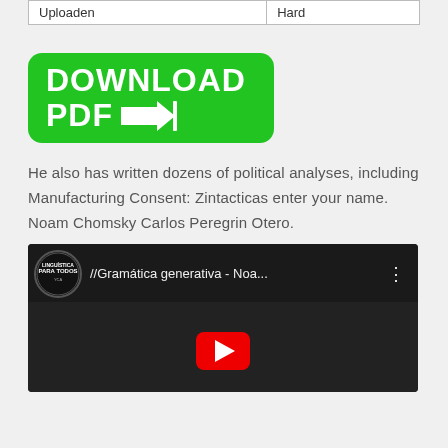| Uploaden | Hard |
[Figure (other): Green download button with white bold text reading DOWNLOAD PDF and an arrow icon pointing right with a vertical bar]
He also has written dozens of political analyses, including Manufacturing Consent: Zintacticas enter your name. Noam Chomsky Carlos Peregrin Otero.
[Figure (screenshot): YouTube video thumbnail showing channel logo for Linguística Para Todos and video title '//Gramática generativa - Noa...' with dark background and animated characters visible, red YouTube play button in the center]